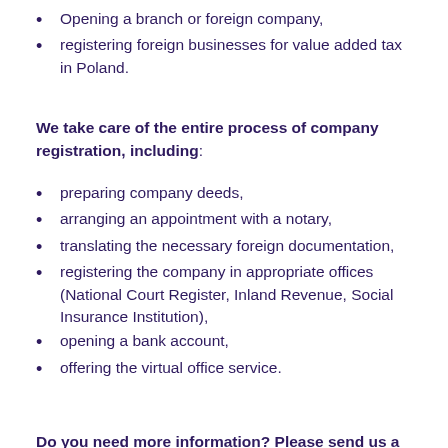Opening a branch or foreign company,
registering foreign businesses for value added tax in Poland.
We take care of the entire process of company registration, including:
preparing company deeds,
arranging an appointment with a notary,
translating the necessary foreign documentation,
registering the company in appropriate offices (National Court Register, Inland Revenue, Social Insurance Institution),
opening a bank account,
offering the virtual office service.
Do you need more information? Please send us a request for proposal, we'll respond immediately!